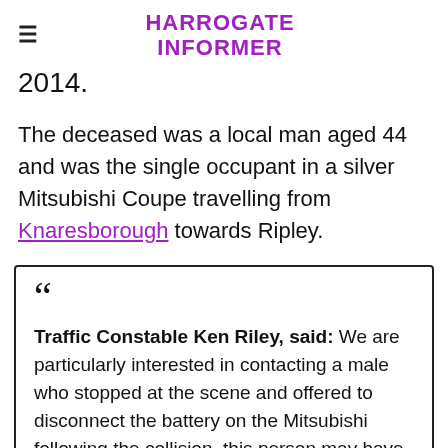HARROGATE INFORMER
2014.
The deceased was a local man aged 44 and was the single occupant in a silver Mitsubishi Coupe travelling from Knaresborough towards Ripley.
Traffic Constable Ken Riley, said: We are particularly interested in contacting a male who stopped at the scene and offered to disconnect the battery on the Mitsubishi following the collision, this person may have been the first at the scene.